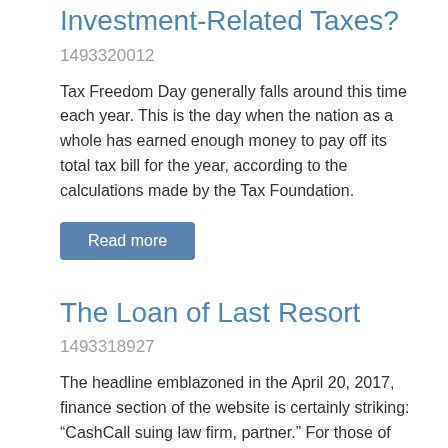Investment-Related Taxes?
1493320012
Tax Freedom Day generally falls around this time each year. This is the day when the nation as a whole has earned enough money to pay off its total tax bill for the year, according to the calculations made by the Tax Foundation.
Read more
The Loan of Last Resort
1493318927
The headline emblazoned in the April 20, 2017, finance section of the website is certainly striking: “CashCall suing law firm, partner.” For those of you unfamiliar